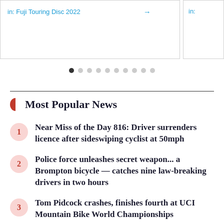[Figure (screenshot): Card showing link text 'in: Fuji Touring Disc 2022' with arrow, partially visible right card with 'in:' text]
[Figure (infographic): Carousel pagination dots — 10 dots, first one filled/dark, rest light grey]
Most Popular News
Near Miss of the Day 816: Driver surrenders licence after sideswiping cyclist at 50mph
Police force unleashes secret weapon... a Brompton bicycle — catches nine law-breaking drivers in two hours
Tom Pidcock crashes, finishes fourth at UCI Mountain Bike World Championships
"It's quite painful to say": Katie Archibald